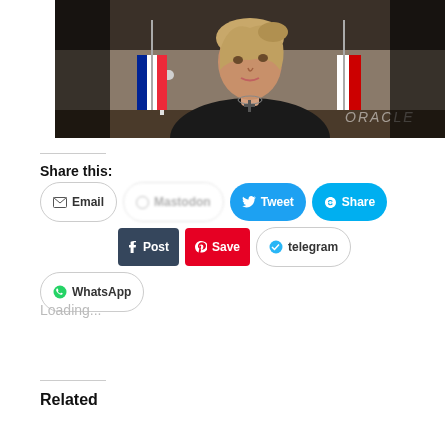[Figure (photo): A woman with blonde hair wearing a black jacket and a cross necklace, seated at a table with French and other flags in the background. A watermark 'ORACLE' is visible in the lower right.]
Share this:
Email | [Mastodon] | Tweet | Share | Post | Save | [Telegram icon] telegram | WhatsApp
Loading...
Related